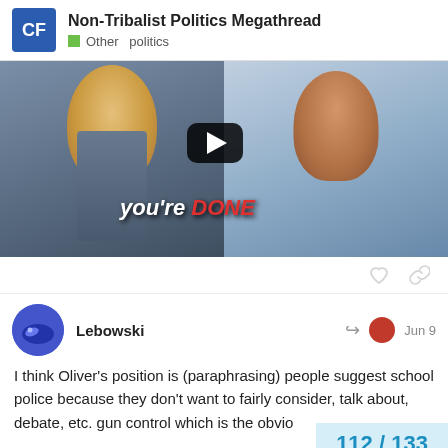Non-Tribalist Politics Megathread | Other politics
[Figure (screenshot): Video thumbnail showing two people — a woman on the left and a laughing man on the right — with text overlay reading "you're DONE" and a YouTube play button in the center.]
Lebowski  Jun 9
I think Oliver's position is (paraphrasing) people suggest school police because they don't want to fairly consider, talk about, debate, etc. gun control which is the obvio
There's at least two things I think are wron
112 / 133